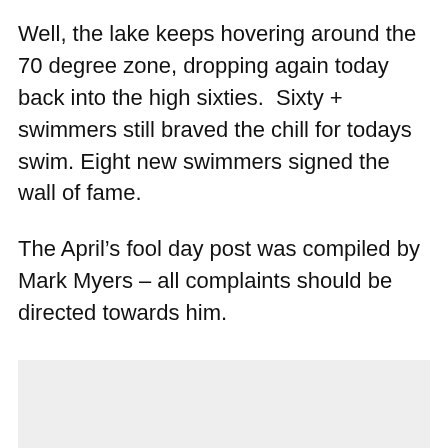Well, the lake keeps hovering around the 70 degree zone, dropping again today back into the high sixties.  Sixty + swimmers still braved the chill for todays swim. Eight new swimmers signed the wall of fame.
The April’s fool day post was compiled by Mark Myers – all complaints should be directed towards him.
[Figure (photo): A light grey rectangular image placeholder at the bottom of the page.]